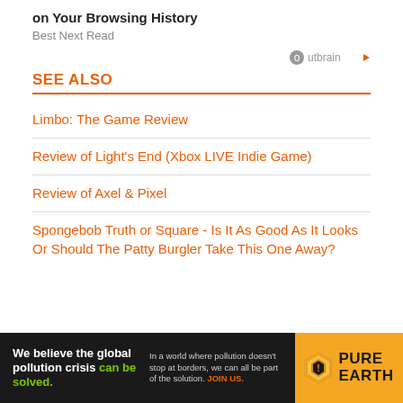on Your Browsing History
Best Next Read
[Figure (logo): Outbrain logo with orange play icon]
SEE ALSO
Limbo: The Game Review
Review of Light's End (Xbox LIVE Indie Game)
Review of Axel & Pixel
Spongebob Truth or Square - Is It As Good As It Looks Or Should The Patty Burgler Take This One Away?
[Figure (infographic): Pure Earth advertisement banner. Text: We believe the global pollution crisis can be solved. In a world where pollution doesn't stop at borders, we can all be part of the solution. JOIN US. Pure Earth logo.]